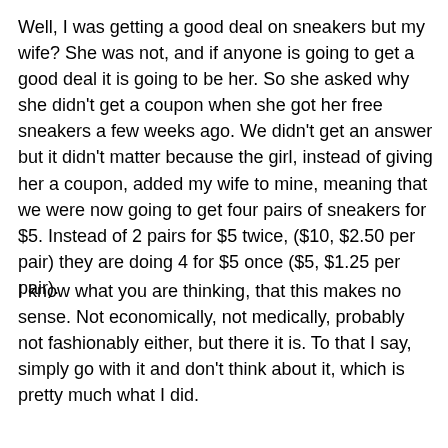Well, I was getting a good deal on sneakers but my wife? She was not, and if anyone is going to get a good deal it is going to be her. So she asked why she didn't get a coupon when she got her free sneakers a few weeks ago. We didn't get an answer but it didn't matter because the girl, instead of giving her a coupon, added my wife to mine, meaning that we were now going to get four pairs of sneakers for $5. Instead of 2 pairs for $5 twice, ($10, $2.50 per pair) they are doing 4 for $5 once ($5, $1.25 per pair).
I know what you are thinking, that this makes no sense. Not economically, not medically, probably not fashionably either, but there it is. To that I say, simply go with it and don't think about it, which is pretty much what I did.